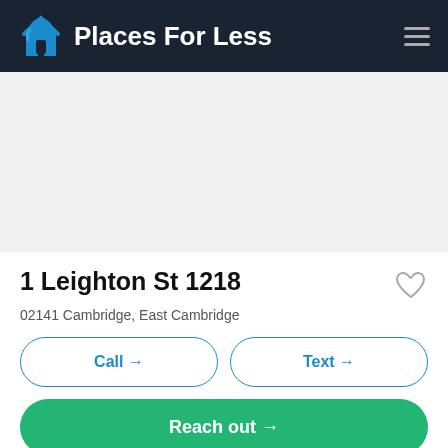Places For Less
[Figure (photo): Empty/white image area placeholder below the navigation header]
1 Leighton St 1218
02141 Cambridge, East Cambridge
Call →
Text →
Reach out →